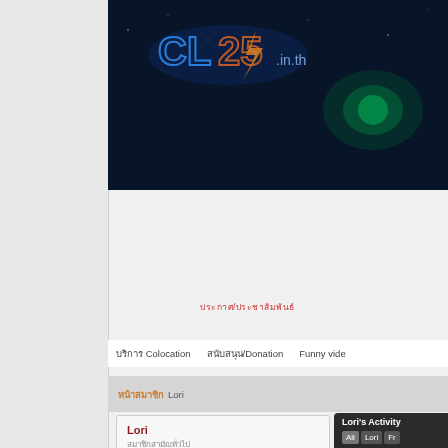[Figure (screenshot): Dark blue banner with logo text and lightning bolt graphic on dark starfield background]
ประกาศ/ประชาสัมพันธ์
บริการ Colocation   สนับสนุน/Donation   Funny vide
หน้าสมาชิก Lori
Lori
สมาชิกสามัญทั่วไป
Lori's Activity
All   Lori   Fr